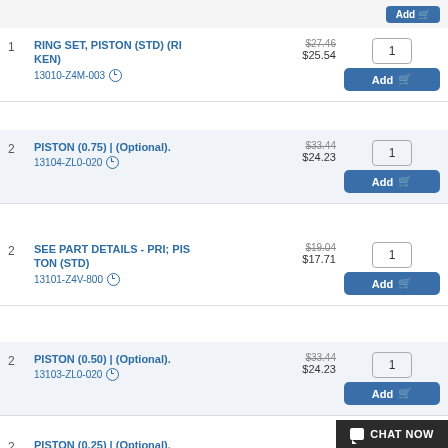1 RING SET, PISTON (STD) (RIKEN) 13010-Z4M-003 — $27.46 / $25.54 Qty:1
2 PISTON (0.75) | (Optional). 13104-ZL0-020 — $33.44 / $24.23 Qty:1
2 SEE PART DETAILS - PRI; PISTON (STD) 13101-Z4V-800 — $19.04 / $17.71 Qty:1
2 PISTON (0.50) | (Optional). 13103-ZL0-020 — $33.44 / $24.23 Qty:1
2 PISTON (0.25) | (Optional). $33...